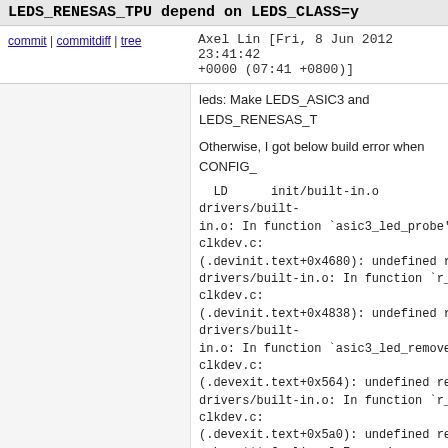LEDS_RENESAS_TPU depend on LEDS_CLASS=y
commit | commitdiff | tree   Axel Lin [Fri, 8 Jun 2012 23:41:42 +0000 (07:41 +0800)]
leds: Make LEDS_ASIC3 and LEDS_RENESAS_T

Otherwise, I got below build error when CONFIG_

  LD      init/built-in.o
drivers/built-
in.o: In function `asic3_led_probe':
clkdev.c:
(.devinit.text+0x4680): undefined reference to `led
drivers/built-in.o: In function `r_tpu_probe':
clkdev.c:
(.devinit.text+0x4838): undefined reference to `led
drivers/built-
in.o: In function `asic3_led_remove':
clkdev.c:
(.devexit.text+0x564): undefined reference to `led_
drivers/built-in.o: In function `r_tpu_remove':
clkdev.c:
(.devexit.text+0x5a0): undefined reference to `led_
make: *** [vmlinux] Error 1

Signed-off-by: Axel Lin <axel.lin@gmail.com>
Signed-off-by: Bryan Wu <bryan.wu@canonical.com>
10 years ago   leds: fixed a coding style issue.